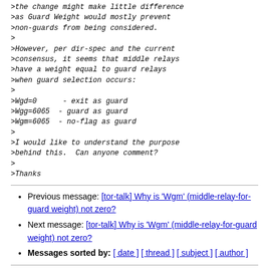>the change might make little difference
>as Guard Weight would mostly prevent
>non-guards from being considered.
>
>However, per dir-spec and the current
>consensus, it seems that middle relays
>have a weight equal to guard relays
>when guard selection occurs:
>
>Wgd=0      - exit as guard
>Wgg=6065  - guard as guard
>Wgm=6065  - no-flag as guard
>
>I would like to understand the purpose
>behind this.  Can anyone comment?
>
>Thanks
Previous message: [tor-talk] Why is 'Wgm' (middle-relay-for-guard weight) not zero?
Next message: [tor-talk] Why is 'Wgm' (middle-relay-for-guard weight) not zero?
Messages sorted by: [ date ] [ thread ] [ subject ] [ author ]
More information about the tor-talk mailing list